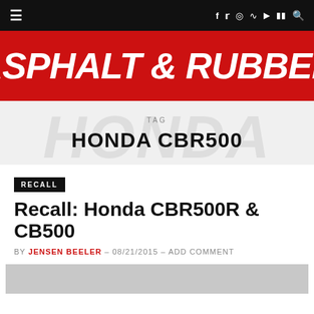≡  f  t  ☆  )))  ▶  ♫  🔍
[Figure (logo): Asphalt & Rubber logo in white italic bold text on red background]
TAG
HONDA CBR500
RECALL
Recall: Honda CBR500R & CB500
BY JENSEN BEELER – 08/21/2015 – ADD COMMENT
[Figure (photo): Gray cropped photo strip at bottom of page]